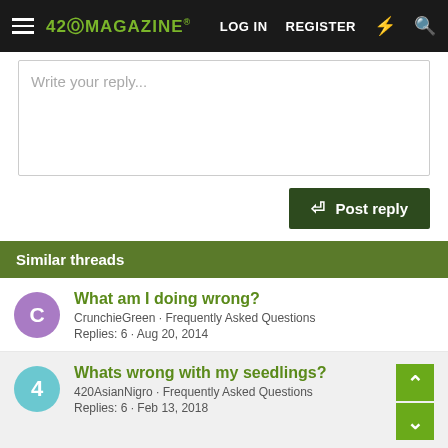420 MAGAZINE® | LOG IN | REGISTER
Write your reply...
Post reply
Similar threads
What am I doing wrong?
CrunchieGreen · Frequently Asked Questions
Replies: 6 · Aug 20, 2014
Whats wrong with my seedlings?
420AsianNigro · Frequently Asked Questions
Replies: 6 · Feb 13, 2018